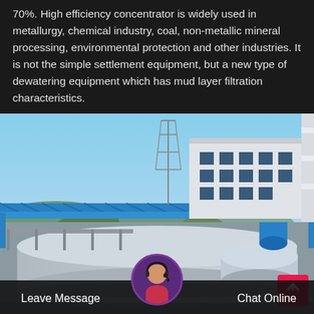70%. High efficiency concentrator is widely used in metallurgy, chemical industry, coal, non-metallic mineral processing, environmental protection and other industries. It is not the simple settlement equipment, but a new type of dewatering equipment which has mud layer filtration characteristics.
[Figure (photo): Industrial thickener/concentrator facility with a large circular tank, blue overhead crane/bridge structure, white multi-story building with windows, transmission tower in background, and a chimney stack on the right. Blue sky with scattered clouds.]
Leave Message    Chat Online